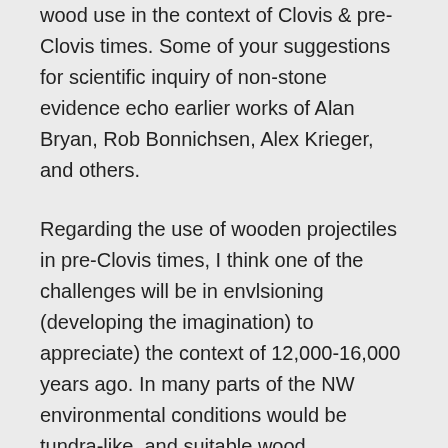wood use in the context of Clovis & pre-Clovis times. Some of your suggestions for scientific inquiry of non-stone evidence echo earlier works of Alan Bryan, Rob Bonnichsen, Alex Krieger, and others.
Regarding the use of wooden projectiles in pre-Clovis times, I think one of the challenges will be in envlsioning (developing the imagination) to appreciate) the context of 12,000-16,000 years ago. In many parts of the NW environmental conditions would be tundra-like, and suitable wood